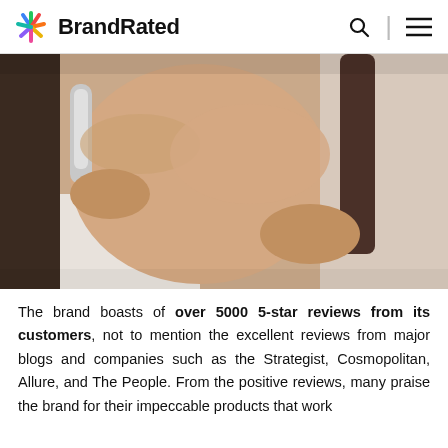BrandRated
[Figure (photo): Person holding a hair removal device near their underarm, wearing a white towel. A dark-handled tool is visible in the background.]
The brand boasts of over 5000 5-star reviews from its customers, not to mention the excellent reviews from major blogs and companies such as the Strategist, Cosmopolitan, Allure, and The People. From the positive reviews, many praise the brand for their impeccable products that work